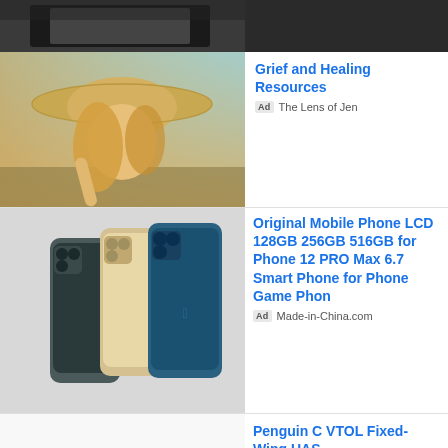[Figure (photo): Top strip of a dark outdoor/car scene, partially visible]
[Figure (photo): Woman wearing a wide-brim hat outdoors in golden light]
Grief and Healing Resources
Ad  The Lens of Jen
[Figure (photo): Three iPhone 12 Pro Max smartphones in gold, gray/green, and blue colors]
Original Mobile Phone LCD 128GB 256GB 516GB for Phone 12 PRO Max 6.7 Smart Phone for Phone Game Phon
Ad  Made-in-China.com
[Figure (photo): White fixed-wing VTOL drone (Penguin C) on white background]
Penguin C VTOL Fixed-Wing UAS
Ad  UAV Factory